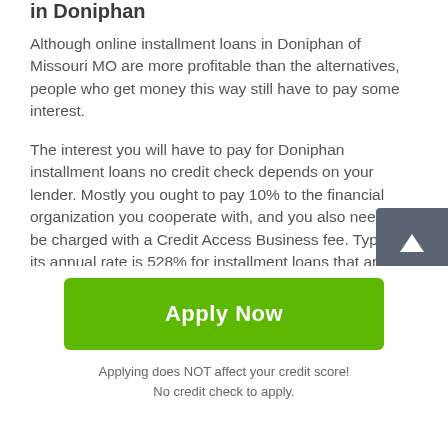in Doniphan
Although online installment loans in Doniphan of Missouri MO are more profitable than the alternatives, people who get money this way still have to pay some interest.
The interest you will have to pay for Doniphan installment loans no credit check depends on your lender. Mostly you ought to pay 10% to the financial organization you cooperate with, and you also need to be charged with a Credit Access Business fee. Typically, its annual rate is 528% for installment loans that are less than $1,500. But if you get a bigger sum, the rate will be decreased to 408%. That's why in case if you want to save your money, you should get direct lender installment loans in Doniphan of
[Figure (other): Scroll to top button with upward arrow]
Apply Now
Applying does NOT affect your credit score!
No credit check to apply.